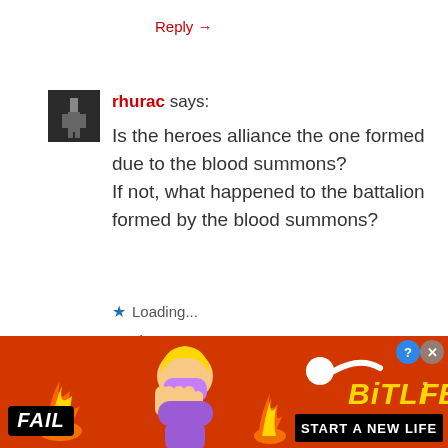Reply →
rhurac says: Is the heroes alliance the one formed due to the blood summons? If not, what happened to the battalion formed by the blood summons?
Loading...
Reply →
[Figure (screenshot): Advertisement banner for BitLife game showing fire, a cartoon character facepalming, FAIL badge, sperm mascot, BitLife logo, and 'START A NEW LIFE' text on orange/red background]